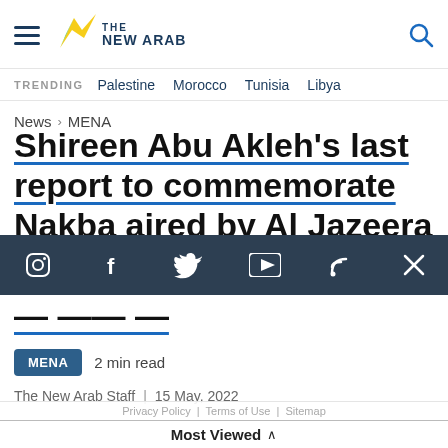THE NEW ARAB
TRENDING  Palestine  Morocco  Tunisia  Libya
News > MENA
Shireen Abu Akleh's last report to commemorate Nakba aired by Al Jazeera
MENA   2 min read
The New Arab Staff  |  15 May, 2022
Most Viewed ^